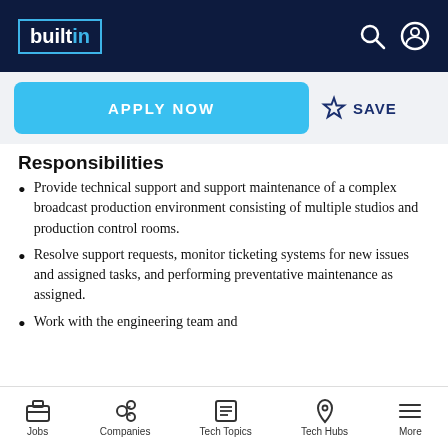builtin
APPLY NOW | SAVE
Responsibilities
Provide technical support and support maintenance of a complex broadcast production environment consisting of multiple studios and production control rooms.
Resolve support requests, monitor ticketing systems for new issues and assigned tasks, and performing preventative maintenance as assigned.
Work with the engineering team and
Jobs | Companies | Tech Topics | Tech Hubs | More